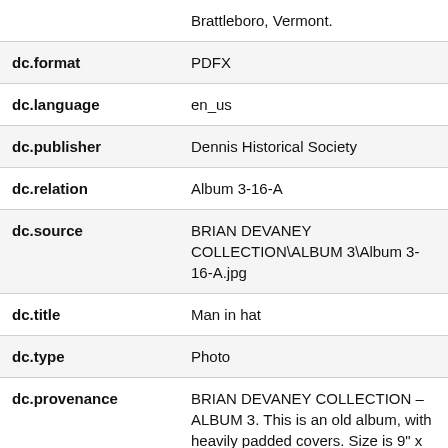| Field | Value |
| --- | --- |
|  | Brattleboro, Vermont. |
| dc.format | PDFX |
| dc.language | en_us |
| dc.publisher | Dennis Historical Society |
| dc.relation | Album 3-16-A |
| dc.source | BRIAN DEVANEY COLLECTION\ALBUM 3\Album 3-16-A.jpg |
| dc.title | Man in hat |
| dc.type | Photo |
| dc.provenance | BRIAN DEVANEY COLLECTION – ALBUM 3. This is an old album, with heavily padded covers. Size is 9" x 11½". It contains heavy leaves, with room for two 4 ½" x 6" cartes visites (CdV) per page, for 30 pages (15 leaves), and 2 leaves (4 pages) with space for 3 small CdV per page. The album has |